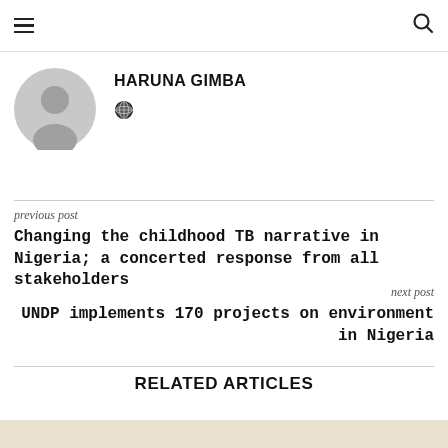Navigation header with hamburger menu and search icon
HARUNA GIMBA
[Figure (illustration): Gray circular user avatar/profile placeholder icon]
[Figure (illustration): Globe/world icon link]
previous post
Changing the childhood TB narrative in Nigeria; a concerted response from all stakeholders
next post
UNDP implements 170 projects on environment in Nigeria
RELATED ARTICLES